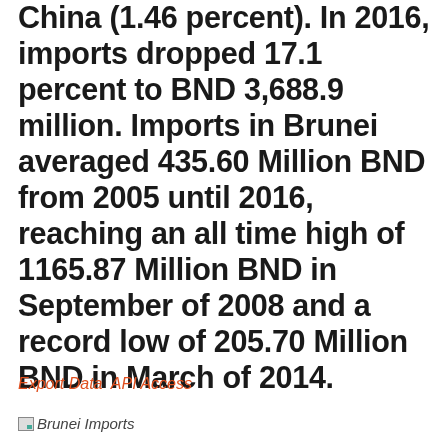China (1.46 percent). In 2016, imports dropped 17.1 percent to BND 3,688.9 million. Imports in Brunei averaged 435.60 Million BND from 2005 until 2016, reaching an all time high of 1165.87 Million BND in September of 2008 and a record low of 205.70 Million BND in March of 2014.
Export Data  API Access
[Figure (illustration): Small broken image icon followed by italic text 'Brunei Imports']